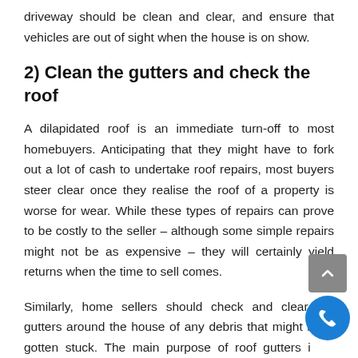driveway should be clean and clear, and ensure that vehicles are out of sight when the house is on show.
2) Clean the gutters and check the roof
A dilapidated roof is an immediate turn-off to most homebuyers. Anticipating that they might have to fork out a lot of cash to undertake roof repairs, most buyers steer clear once they realise the roof of a property is worse for wear. While these types of repairs can prove to be costly to the seller – although some simple repairs might not be as expensive – they will certainly yield returns when the time to sell comes.
Similarly, home sellers should check and clear the gutters around the house of any debris that might have gotten stuck. The main purpose of roof gutters is to collect and direct water away from the property when